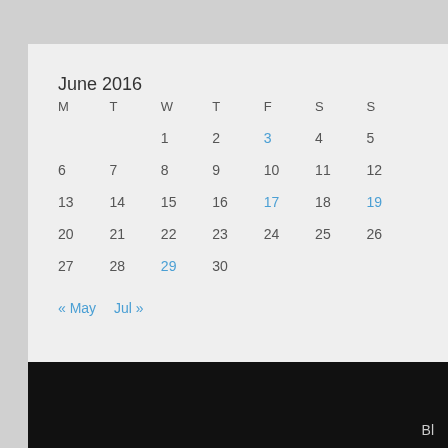June 2016
| M | T | W | T | F | S | S |
| --- | --- | --- | --- | --- | --- | --- |
|  |  | 1 | 2 | 3 | 4 | 5 |
| 6 | 7 | 8 | 9 | 10 | 11 | 12 |
| 13 | 14 | 15 | 16 | 17 | 18 | 19 |
| 20 | 21 | 22 | 23 | 24 | 25 | 26 |
| 27 | 28 | 29 | 30 |  |  |  |
« May   Jul »
Bl